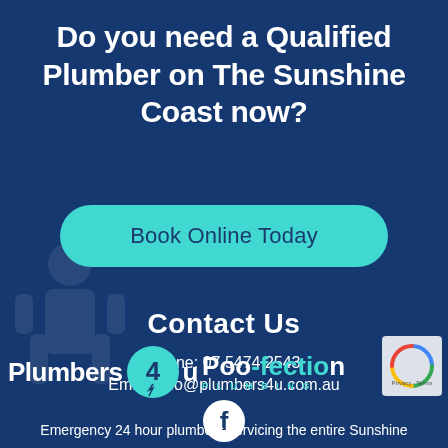Do you need a Qualified Plumber on The Sunshine Coast now?
[Figure (other): Teal rounded button with text 'Book Online Today']
Contact Us
Phone: 07 5474 2543
Email: info@plumbers4u.com.au
[Figure (logo): Facebook circle icon]
[Figure (logo): Plumbers 4u and Poo-fection Plumbing logos combined]
[Figure (logo): reCAPTCHA badge]
Emergency 24 hour plumbers servicing the entire Sunshine